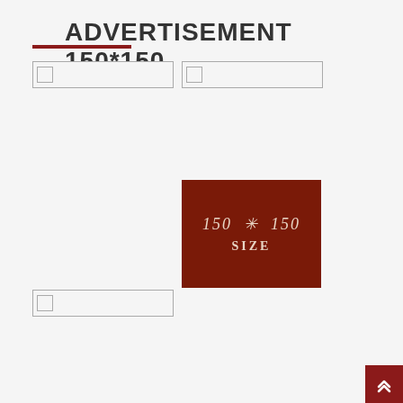ADVERTISEMENT 150*150
[Figure (other): UI template page showing an advertisement placeholder layout with input boxes, checkboxes, and a 150x150 dark red advertisement block displaying '150 * 150 SIZE']
[Figure (other): Scroll-to-top button in dark red at bottom right corner]